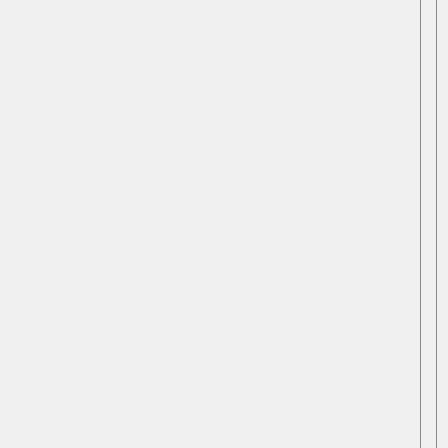TransOcean to cut corners to save costs -that would be BPs fault. But, if BP made a good faith effort to verify that TransOcean was a responsible contractor (and didn't withold information that TO needed to do its job safely -such as information about the drilling formation), then the primary responsibility belongs with TO. I think the BP CEO is being perfectly sensible is portraying the primary responsibilty as